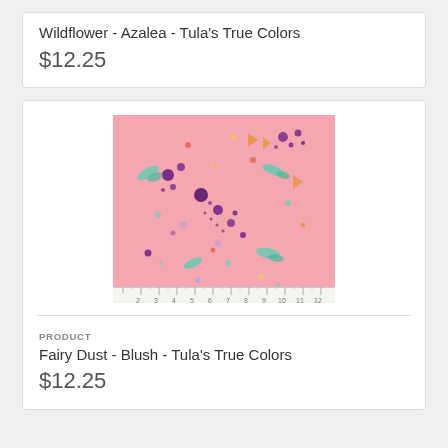Wildflower - Azalea - Tula's True Colors
$12.25
[Figure (photo): Pink fabric swatch with scattered colorful dots, flowers, and hummingbirds pattern (Fairy Dust - Blush - Tula's True Colors), shown with a ruler at the bottom]
PRODUCT
Fairy Dust - Blush - Tula's True Colors
$12.25